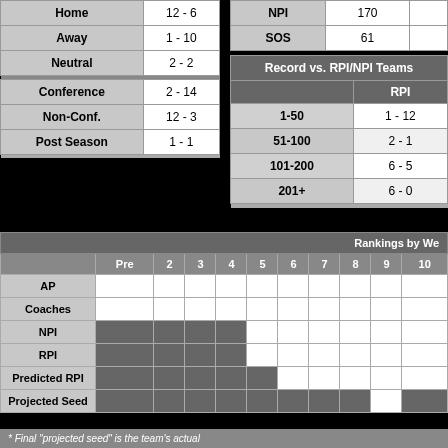|  | Record |
| --- | --- |
| Home | 12 - 6 |
| Away | 1 - 10 |
| Neutral | 2 - 2 |
| Conference | 2 - 14 |
| Non-Conf. | 12 - 3 |
| Post Season | 1 - 1 |
|  | Value |
| --- | --- |
| NPI | 170 |
| SOS | 61 |
| Record vs. RPI/NPI Teams | RPI |
| --- | --- |
| 1-50 | 1 - 12 |
| 51-100 | 2 - 1 |
| 101-200 | 6 - 5 |
| 201+ | 6 - 0 |
|  | Pre | 2 | 3 | 4 | 5 | 6 | 7 | 8 | 9 | 10 |
| --- | --- | --- | --- | --- | --- | --- | --- | --- | --- | --- |
| AP |  |  |  |  |  |  |  |  |  |  |
| Coaches |  |  |  |  |  |  |  |  |  |  |
| NPI | ● | ● | ● | ● |  |  |  |  |  |  |
| RPI | ● | ● | ● | ● |  |  |  |  |  |  |
| Predicted RPI | ● | ● | ● | ● | ● |  |  |  |  |  |
| Projected Seed | ● | ● | ● | ● | ● | ● | ● | ● |  | ● |
* Final "projected seed" is the team's actual